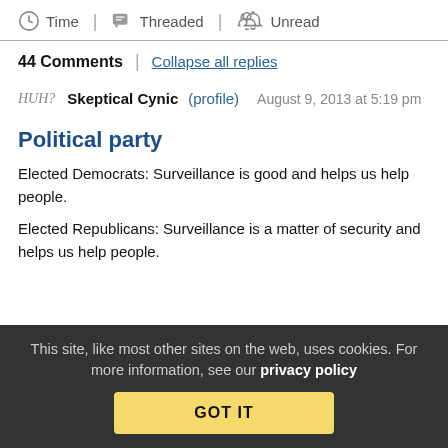Time | Threaded | Unread
44 Comments | Collapse all replies
HUH? Skeptical Cynic (profile) August 9, 2013 at 5:19 pm
Political party
Elected Democrats: Surveillance is good and helps us help people.
Elected Republicans: Surveillance is a matter of security and helps us help people.
This site, like most other sites on the web, uses cookies. For more information, see our privacy policy GOT IT